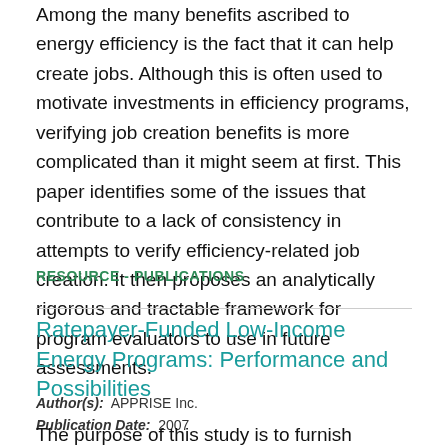Among the many benefits ascribed to energy efficiency is the fact that it can help create jobs. Although this is often used to motivate investments in efficiency programs, verifying job creation benefits is more complicated than it might seem at first. This paper identifies some of the issues that contribute to a lack of consistency in attempts to verify efficiency-related job creation. It then proposes an analytically rigorous and tractable framework for program evaluators to use in future assessments.
RESOURCE - PUBLICATIONS
Ratepayer-Funded Low-Income Energy Programs: Performance and Possibilities
Author(s): APPRISE Inc.
Publication Date: 2007
The purpose of this study is to furnish comprehensive